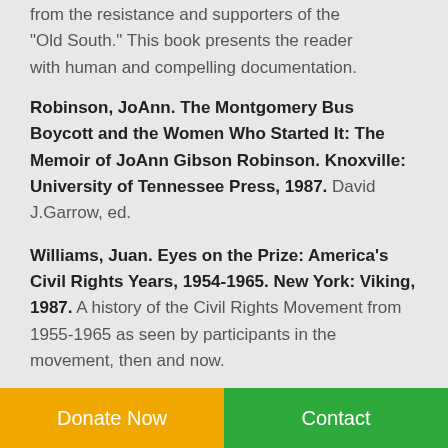from the resistance and supporters of the “Old South.” This book presents the reader with human and compelling documentation.
Robinson, JoAnn. The Montgomery Bus Boycott and the Women Who Started It: The Memoir of JoAnn Gibson Robinson. Knoxville: University of Tennessee Press, 1987. David J.Garrow, ed.
Williams, Juan. Eyes on the Prize: America’s Civil Rights Years, 1954-1965. New York: Viking, 1987. A history of the Civil Rights Movement from 1955-1965 as seen by participants in the movement, then and now.
Donate Now   Contact